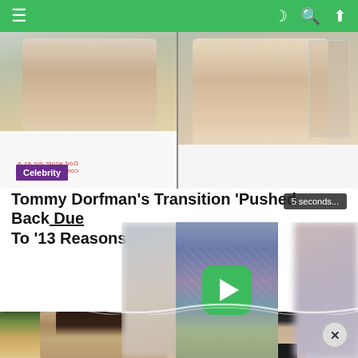Navigation bar with menu, dark mode, search, and share icons
[Figure (photo): Two side-by-side selfie photos of Tommy Dorfman — left shows person in white t-shirt with sunglasses, right shows person in white top with necklace taking mirror selfie]
Celebrity
Tommy Dorfman’s Transition ‘Pushed Back Due To ‘13 Reasons W…
[Figure (screenshot): Video overlay showing blurred crowd scene with green play button, timer showing 5 seconds, and blurred side panels]
[Figure (photo): Bottom thumbnail strip showing Victoria Beckham portrait on left and another celebrity on right]
[Figure (other): Close (X) button circle in bottom right corner]